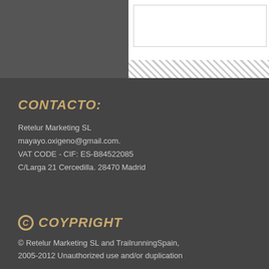CONTACTO:
Retelur Marketing SL
mayayo.oxigeno@gmail.com.
VAT CODE - CIF: ES-B84522085
C/Larga 21 Cercedilla. 28470 Madrid
© COYPRIGHT
© Retelur Marketing SL and TrailrunningSpain, 2005-2012 Unauthorized use and/or duplication